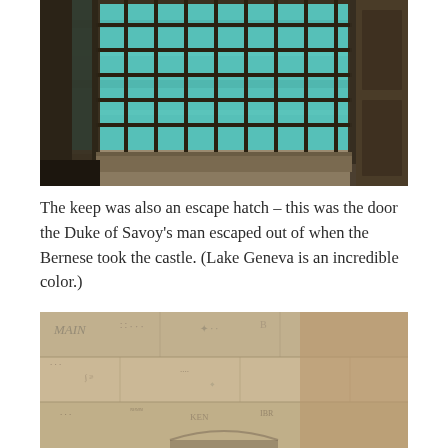[Figure (photo): A barred window with a grid of iron bars looking out over turquoise-colored Lake Geneva, set in heavy stone castle walls. The interior is dark stone and wood.]
The keep was also an escape hatch – this was the door the Duke of Savoy's man escaped out of when the Bernese took the castle. (Lake Geneva is an incredible color.)
[Figure (photo): Close-up of a stone wall covered in carved graffiti and inscriptions from historical prisoners or visitors, including text and symbols etched into the pale stone.]